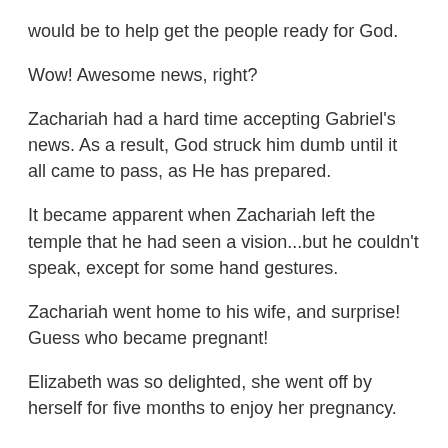would be to help get the people ready for God.
Wow! Awesome news, right?
Zachariah had a hard time accepting Gabriel's news. As a result, God struck him dumb until it all came to pass, as He has prepared.
It became apparent when Zachariah left the temple that he had seen a vision...but he couldn't speak, except for some hand gestures.
Zachariah went home to his wife, and surprise! Guess who became pregnant!
Elizabeth was so delighted, she went off by herself for five months to enjoy her pregnancy.